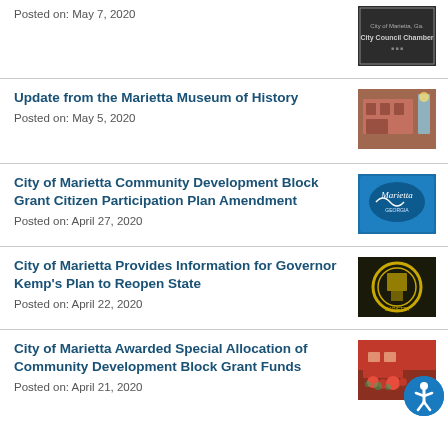Posted on: May 7, 2020
[Figure (photo): City Council Chamber sign photo]
Update from the Marietta Museum of History
Posted on: May 5, 2020
[Figure (photo): Marietta Museum of History building exterior]
City of Marietta Community Development Block Grant Citizen Participation Plan Amendment
Posted on: April 27, 2020
[Figure (photo): Marietta logo on blue background]
City of Marietta Provides Information for Governor Kemp's Plan to Reopen State
Posted on: April 22, 2020
[Figure (photo): City of Marietta seal/logo on dark background]
City of Marietta Awarded Special Allocation of Community Development Block Grant Funds
Posted on: April 21, 2020
[Figure (photo): City building with flowers in foreground]